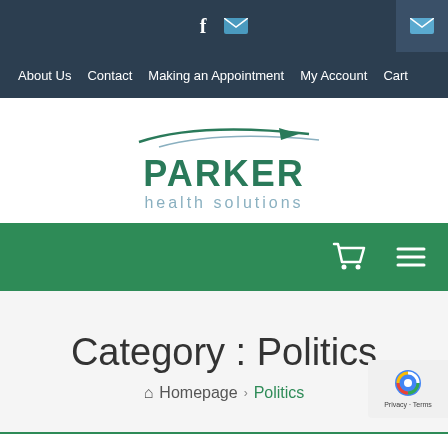f [facebook icon] [mail icon]
About Us  Contact  Making an Appointment  My Account  Cart
[Figure (logo): Parker Health Solutions logo with stylized swoosh/arrow graphic in green and grey above the text PARKER health solutions]
[Figure (other): Green mobile navigation bar with cart icon and hamburger menu icon]
Category : Politics
Homepage › Politics